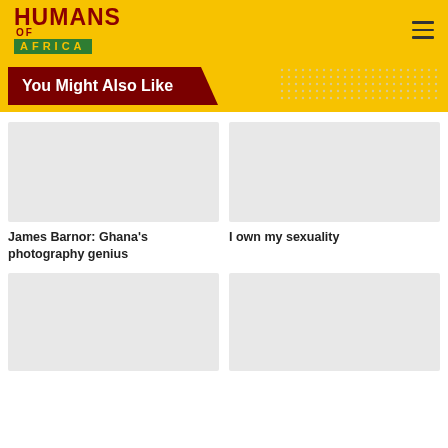HUMANS OF AFRICA
You Might Also Like
[Figure (photo): Placeholder image for James Barnor article]
James Barnor: Ghana’s photography genius
[Figure (photo): Placeholder image for I own my sexuality article]
I own my sexuality
[Figure (photo): Placeholder image for article 3]
[Figure (photo): Placeholder image for article 4]